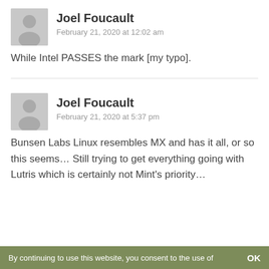[Figure (illustration): Generic user avatar (silhouette) for Joel Foucault, comment 1]
Joel Foucault
February 21, 2020 at 12:02 am
While Intel PASSES the mark [my typo].
[Figure (illustration): Generic user avatar (silhouette) for Joel Foucault, comment 2]
Joel Foucault
February 21, 2020 at 5:37 pm
Bunsen Labs Linux resembles MX and has it all, or so this seems… Still trying to get everything going with Lutris which is certainly not Mint's priority…
By continuing to use this website, you consent to the use of   OK